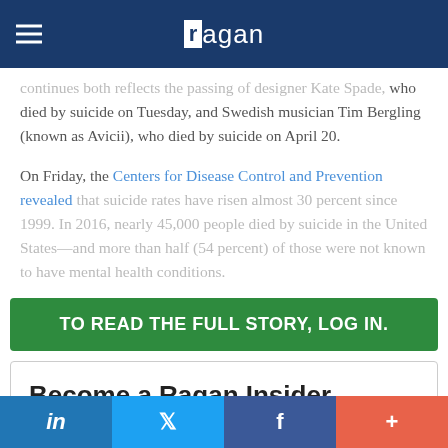ragan
continues both reflects the passing of designer Kate Spade, who died by suicide on Tuesday, and Swedish musician Tim Bergling (known as Avicii), who died by suicide on April 20.
On Friday, the Centers for Disease Control and Prevention revealed that suicide rates have risen almost 30 percent since 1999. In 2016, nearly 45,000 people died by suicide in the United States—and more than half (54 percent) of those were not known to have mental health conditions.
TO READ THE FULL STORY, LOG IN.
Become a Ragan Insider
in  f  +